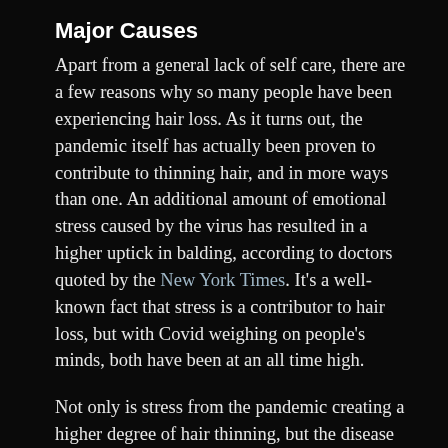Major Causes
Apart from a general lack of self care, there are a few reasons why so many people have been experiencing hair loss. As it turns out, the pandemic itself has actually been proven to contribute to thinning hair, and in more ways than one. An additional amount of emotional stress caused by the virus has resulted in a higher uptick in balding, according to doctors quoted by the New York Times. It's a well-known fact that stress is a contributor to hair loss, but with Covid weighing on people's minds, both have been at an all time high.
Not only is stress from the pandemic creating a higher degree of hair thinning, but the disease itself is actually causing it as well. The American Academy of Dermatology Association (or the